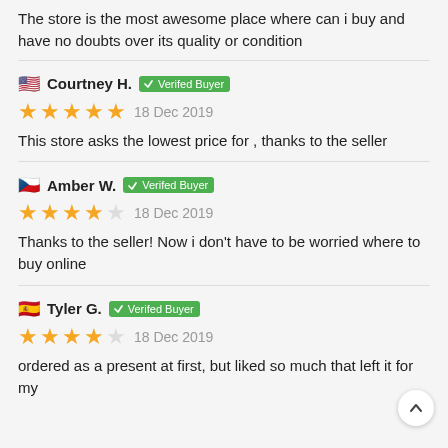The store is the most awesome place where can i buy and have no doubts over its quality or condition
Courtney H. — Verifed Buyer | ★★★★★ 18 Dec 2019 | This store asks the lowest price for , thanks to the seller
Amber W. — Verifed Buyer | ★★★★☆ 18 Dec 2019 | Thanks to the seller! Now i don't have to be worried where to buy online
Tyler G. — Verifed Buyer | ★★★★☆ 18 Dec 2019 | ordered as a present at first, but liked so much that left it for my